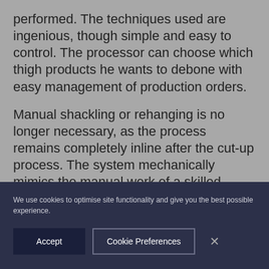performed. The techniques used are ingenious, though simple and easy to control. The processor can choose which thigh products he wants to debone with easy management of production orders.
Manual shackling or rehanging is no longer necessary, as the process remains completely inline after the cut-up process. The system mechanically mimics the manual work of a skilled operator, ensuring a consistently processed ‘butcher quality’ thigh meat. A consistent
We use cookies to optimise site functionality and give you the best possible experience.